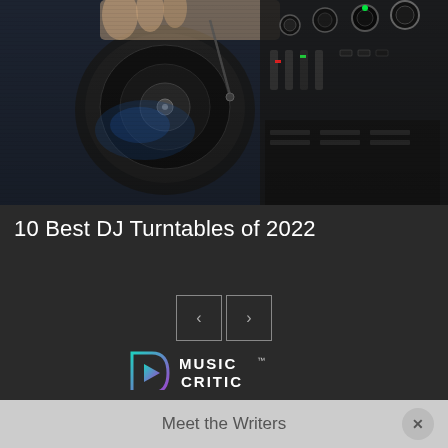[Figure (photo): Close-up photo of DJ turntable equipment with hands touching vinyl record and mixing console with knobs and faders]
10 Best DJ Turntables of 2022
[Figure (other): Navigation buttons: left arrow and right arrow in square outlines]
[Figure (logo): MusicCritic logo with play button icon in teal/purple gradient and MUSIC CRITIC text in white]
About MusicCritic
Meet the Writers